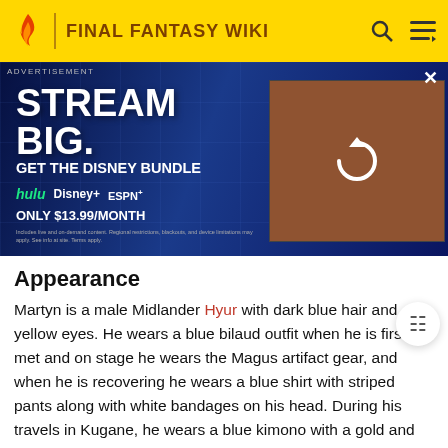FINAL FANTASY WIKI
[Figure (screenshot): Disney Bundle advertisement: 'STREAM BIG. GET THE DISNEY BUNDLE' with Hulu, Disney+, ESPN+ logos, 'ONLY $13.99/MONTH'. Video player area on the right with loading spinner. ADVERTISEMENT label at top left, close X button at top right.]
Appearance
Martyn is a male Midlander Hyur with dark blue hair and yellow eyes. He wears a blue bilaud outfit when he is first met and on stage he wears the Magus artifact gear, and when he is recovering he wears a blue shirt with striped pants along with white bandages on his head. During his travels in Kugane, he wears a blue kimono with a gold and black sash with sandals. He wields the Spirit of the